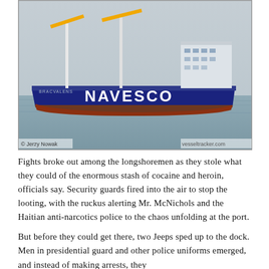[Figure (photo): Photograph of a large cargo ship named NAVESCO on a calm body of water. The ship is dark blue with a rust-colored hull near the waterline, with white cranes and yellow crane arms visible. The image is credited to Jerzy Nowak and vesseltracker.com.]
© Jerzy Nowak | vesseltracker.com
Fights broke out among the longshoremen as they stole what they could of the enormous stash of cocaine and heroin, officials say. Security guards fired into the air to stop the looting, with the ruckus alerting Mr. McNichols and the Haitian anti-narcotics police to the chaos unfolding at the port.
But before they could get there, two Jeeps sped up to the dock. Men in presidential guard and other police uniforms emerged, and instead of making arrests, they